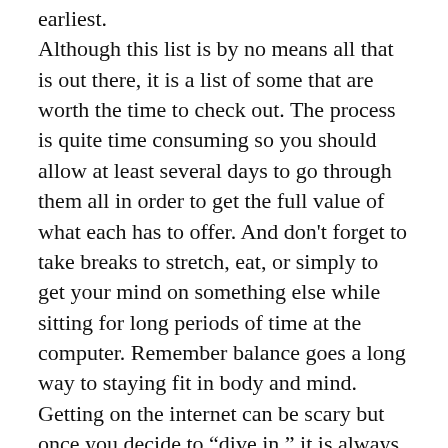earliest. Although this list is by no means all that is out there, it is a list of some that are worth the time to check out. The process is quite time consuming so you should allow at least several days to go through them all in order to get the full value of what each has to offer. And don't forget to take breaks to stretch, eat, or simply to get your mind on something else while sitting for long periods of time at the computer. Remember balance goes a long way to staying fit in body and mind. Getting on the internet can be scary but once you decide to “dive in,” it is always informative and most of the time, well worth the effort. Happy surfing!
©Jan Shope, M.A., L.P.C 2009. All rights reserved. Ms. Shope is a professional